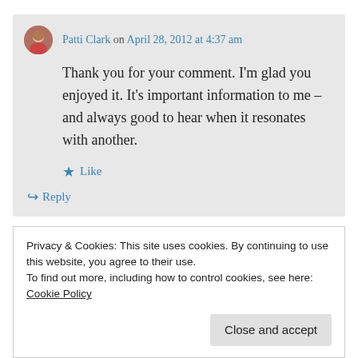Patti Clark on April 28, 2012 at 4:37 am
Thank you for your comment. I'm glad you enjoyed it. It's important information to me – and always good to hear when it resonates with another.
Like
Reply
Privacy & Cookies: This site uses cookies. By continuing to use this website, you agree to their use.
To find out more, including how to control cookies, see here: Cookie Policy
Close and accept